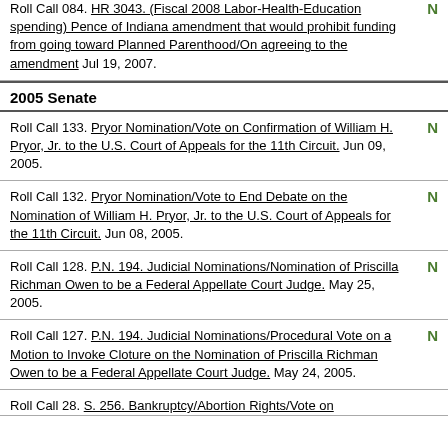Roll Call 084. HR 3043. (Fiscal 2008 Labor-Health-Education spending) Pence of Indiana amendment that would prohibit funding from going toward Planned Parenthood/On agreeing to the amendment Jul 19, 2007. N
2005 Senate
Roll Call 133. Pryor Nomination/Vote on Confirmation of William H. Pryor, Jr. to the U.S. Court of Appeals for the 11th Circuit. Jun 09, 2005. N
Roll Call 132. Pryor Nomination/Vote to End Debate on the Nomination of William H. Pryor, Jr. to the U.S. Court of Appeals for the 11th Circuit. Jun 08, 2005. N
Roll Call 128. P.N. 194. Judicial Nominations/Nomination of Priscilla Richman Owen to be a Federal Appellate Court Judge. May 25, 2005. N
Roll Call 127. P.N. 194. Judicial Nominations/Procedural Vote on a Motion to Invoke Cloture on the Nomination of Priscilla Richman Owen to be a Federal Appellate Court Judge. May 24, 2005. N
Roll Call 28. S. 256. Bankruptcy/Abortion Rights/Vote on...